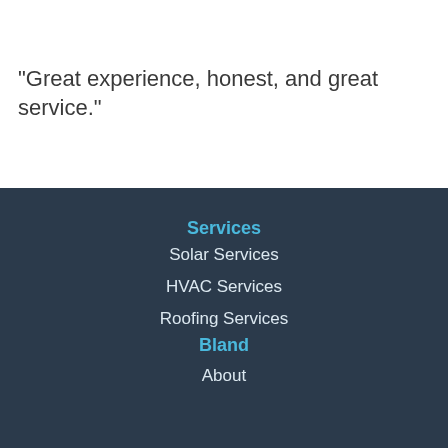“Great experience, honest, and great service.”
Services
Solar Services
HVAC Services
Roofing Services
Bland
About